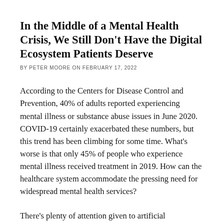In the Middle of a Mental Health Crisis, We Still Don't Have the Digital Ecosystem Patients Deserve
BY PETER MOORE ON FEBRUARY 17, 2022
According to the Centers for Disease Control and Prevention, 40% of adults reported experiencing mental illness or substance abuse issues in June 2020. COVID-19 certainly exacerbated these numbers, but this trend has been climbing for some time. What's worse is that only 45% of people who experience mental illness received treatment in 2019. How can the healthcare system accommodate the pressing need for widespread mental health services?
There's plenty of attention given to artificial